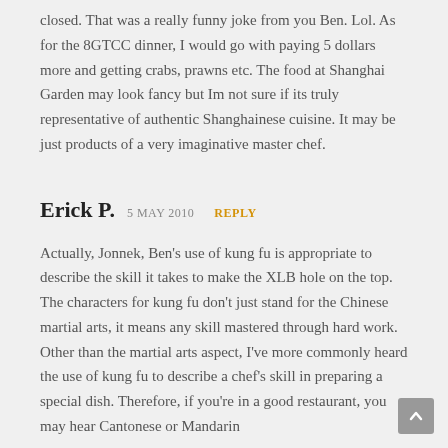closed. That was a really funny joke from you Ben. Lol. As for the 8GTCC dinner, I would go with paying 5 dollars more and getting crabs, prawns etc. The food at Shanghai Garden may look fancy but Im not sure if its truly representative of authentic Shanghainese cuisine. It may be just products of a very imaginative master chef.
Erick P. 5 MAY 2010 REPLY
Actually, Jonnek, Ben's use of kung fu is appropriate to describe the skill it takes to make the XLB hole on the top. The characters for kung fu don't just stand for the Chinese martial arts, it means any skill mastered through hard work. Other than the martial arts aspect, I've more commonly heard the use of kung fu to describe a chef's skill in preparing a special dish. Therefore, if you're in a good restaurant, you may hear Cantonese or Mandarin